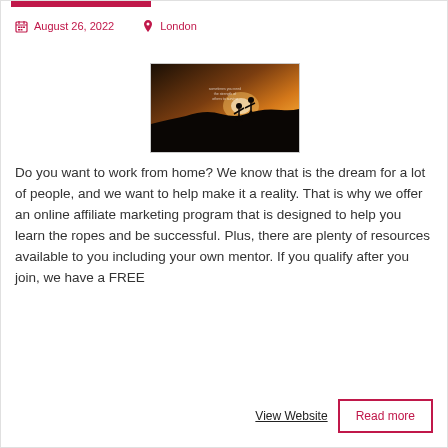[Figure (photo): Two silhouetted figures on a rocky hill at sunset, one reaching down to help the other climb up. Motivational text overlay visible.]
August 26, 2022   London
Do you want to work from home? We know that is the dream for a lot of people, and we want to help make it a reality. That is why we offer an online affiliate marketing program that is designed to help you learn the ropes and be successful. Plus, there are plenty of resources available to you including your own mentor. If you qualify after you join, we have a FREE
View Website
Read more